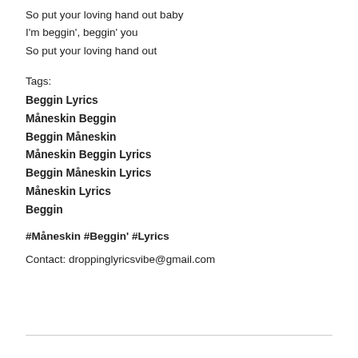So put your loving hand out baby
I'm beggin', beggin' you
So put your loving hand out
Tags:
Beggin Lyrics
Måneskin Beggin
Beggin Måneskin
Måneskin Beggin Lyrics
Beggin Måneskin Lyrics
Måneskin Lyrics
Beggin
#Måneskin #Beggin' #Lyrics
Contact: droppinglyricsvibe@gmail.com